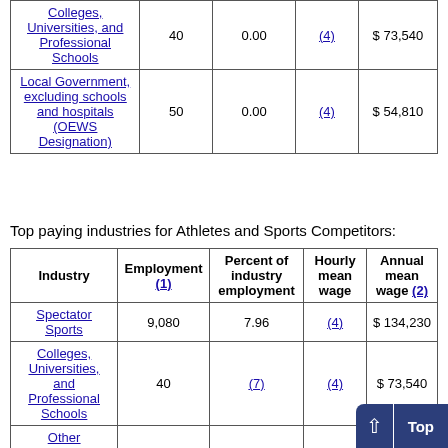| Industry | Employment (1) | Percent of industry employment | Hourly mean wage | Annual mean wage (2) |
| --- | --- | --- | --- | --- |
| Colleges, Universities, and Professional Schools | 40 | 0.00 | (4) | $ 73,540 |
| Local Government, excluding schools and hospitals (OEWS Designation) | 50 | 0.00 | (4) | $ 54,810 |
Top paying industries for Athletes and Sports Competitors:
| Industry | Employment (1) | Percent of industry employment | Hourly mean wage | Annual mean wage (2) |
| --- | --- | --- | --- | --- |
| Spectator Sports | 9,080 | 7.96 | (4) | $ 134,230 |
| Colleges, Universities, and Professional Schools | 40 | (7) | (4) | $ 73,540 |
| Other Amusement and Recreation Industries | 2,370 | 0.21 | (4) | $ 31,120 |